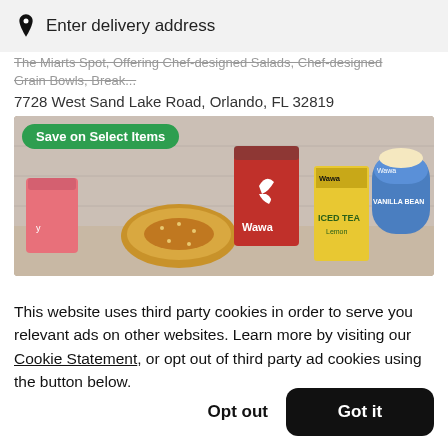Enter delivery address
The Miarts Spot, Offering Chef-designed Salads, Chef-designed Grain Bowls, Break...
7728 West Sand Lake Road, Orlando, FL 32819
[Figure (photo): Photo of Wawa food and drink products including a red cup, bagel/pretzel, iced tea, vanilla bean ice cream, and a pink smoothie cup. A green 'Save on Select Items' badge is overlaid on the image.]
This website uses third party cookies in order to serve you relevant ads on other websites. Learn more by visiting our Cookie Statement, or opt out of third party ad cookies using the button below.
Opt out
Got it